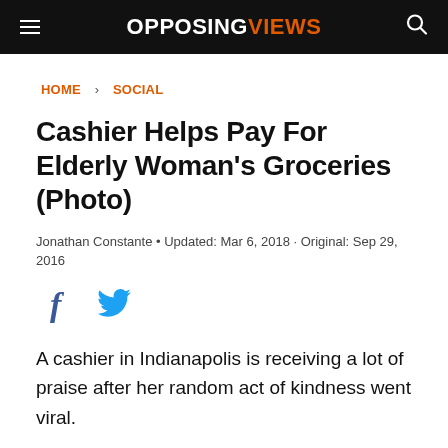OPPOSINGVIEWS
HOME › SOCIAL
Cashier Helps Pay For Elderly Woman's Groceries (Photo)
Jonathan Constante • Updated: Mar 6, 2018 · Original: Sep 29, 2016
[Figure (other): Facebook and Twitter social share icons]
A cashier in Indianapolis is receiving a lot of praise after her random act of kindness went viral.
The moment was captured by Gary Clark. Clark